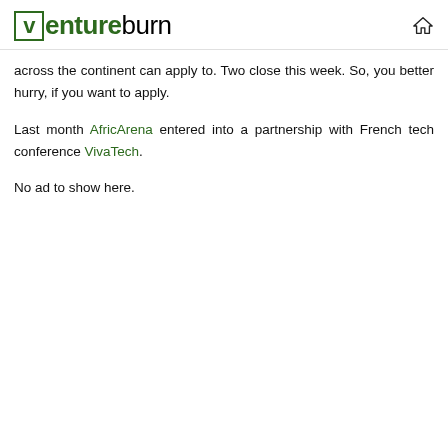ventureburn
across the continent can apply to. Two close this week. So, you better hurry, if you want to apply.
Last month AfricArena entered into a partnership with French tech conference VivaTech.
No ad to show here.